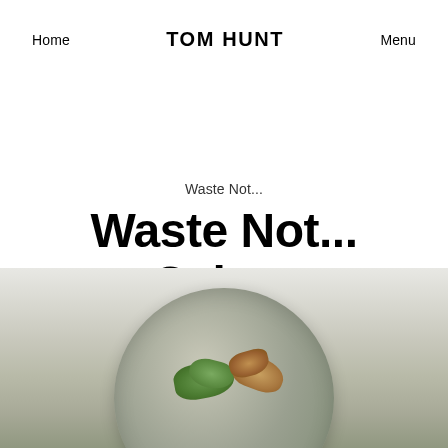Home  TOM HUNT  Menu
Waste Not...
Waste Not... Celery
[Figure (photo): Overhead photo of a ceramic plate with celery leaves and fried food items, on a light linen background]